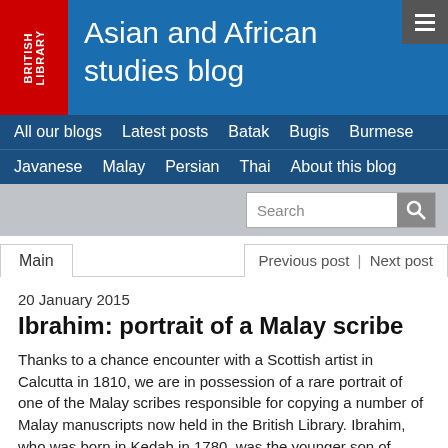Asian and African studies blog
All our blogs
Latest posts
Batak
Bugis
Burmese
Javanese
Malay
Persian
Thai
About this blog
Main | Previous post | Next post
20 January 2015
Ibrahim: portrait of a Malay scribe
Thanks to a chance encounter with a Scottish artist in Calcutta in 1810, we are in possession of a rare portrait of one of the Malay scribes responsible for copying a number of Malay manuscripts now held in the British Library. Ibrahim, who was born in Kedah in 1780, was the younger son of Hakim Long Fakir Kandu, a prominent merchant from